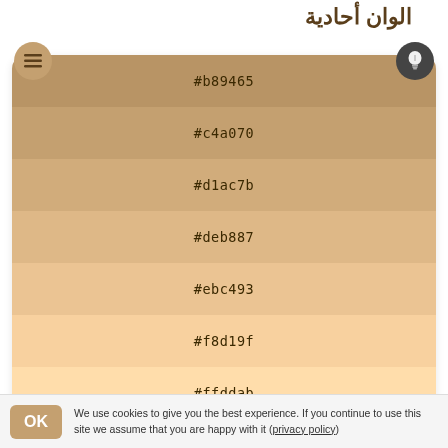الوان أحادية
[Figure (infographic): Menu hamburger icon in tan circle]
[Figure (infographic): Lightbulb icon in dark circle]
| #b89465 |
| #c4a070 |
| #d1ac7b |
| #deb887 |
| #ebc493 |
| #f8d19f |
| #ffddab |
نغمات
| #deb887 |
| #d8b78f |
We use cookies to give you the best experience. If you continue to use this site we assume that you are happy with it (privacy policy)